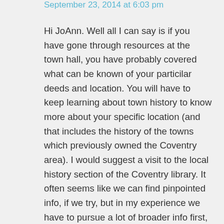September 23, 2014 at 6:03 pm
Hi JoAnn. Well all I can say is if you have gone through resources at the town hall, you have probably covered what can be known of your particilar deeds and location. You will have to keep learning about town history to know more about your specific location (and that includes the history of the towns which previously owned the Coventry area). I would suggest a visit to the local history section of the Coventry library. It often seems like we can find pinpointed info, if we try, but in my experience we have to pursue a lot of broader info first, and then we really do become more expert at drilling down to